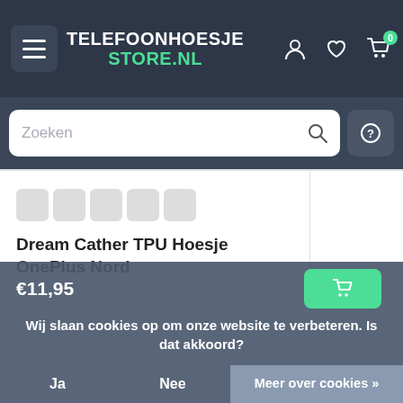TELEFOONHOESJE STORE.NL
Zoeken
[Figure (screenshot): Product card showing star rating and product name: Dream Cather TPU Hoesje OnePlus Nord]
Dream Cather TPU Hoesje OnePlus Nord
€11,95
Wij slaan cookies op om onze website te verbeteren. Is dat akkoord?
Ja   Nee   Meer over cookies »